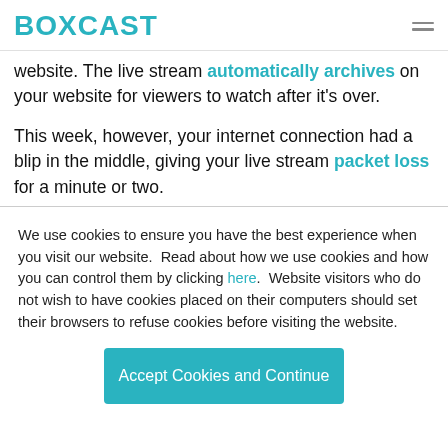BOXCAST
website.  The live stream automatically archives on your website for viewers to watch after it's over.
This week, however, your internet connection had a blip in the middle, giving your live stream packet loss for a minute or two.
We use cookies to ensure you have the best experience when you visit our website.  Read about how we use cookies and how you can control them by clicking here.  Website visitors who do not wish to have cookies placed on their computers should set their browsers to refuse cookies before visiting the website.
Accept Cookies and Continue